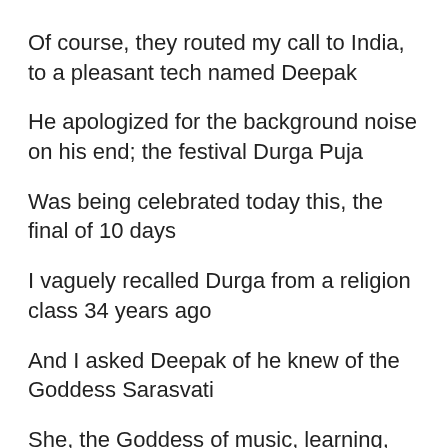Of course, they routed my call to India, to a pleasant tech named Deepak
He apologized for the background noise on his end; the festival Durga Puja
Was being celebrated today this, the final of 10 days
I vaguely recalled Durga from a religion class 34 years ago
And I asked Deepak of he knew of the Goddess Sarasvati
She, the Goddess of music, learning, and language
I, a musician, scholar, and writer
Sarasvati gave India the Vedas, when religion was verse